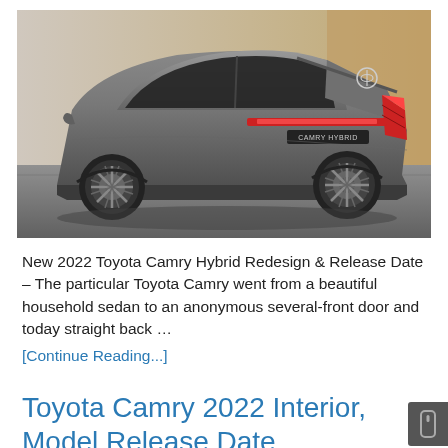[Figure (photo): Rear three-quarter view of a gray Toyota Camry Hybrid sedan on a studio background with warm beige tones. The car badge reads 'CAMRY HYBRID' on the trunk.]
New 2022 Toyota Camry Hybrid Redesign & Release Date – The particular Toyota Camry went from a beautiful household sedan to an anonymous several-front door and today straight back …
[Continue Reading...]
Toyota Camry 2022 Interior, Model Release Date